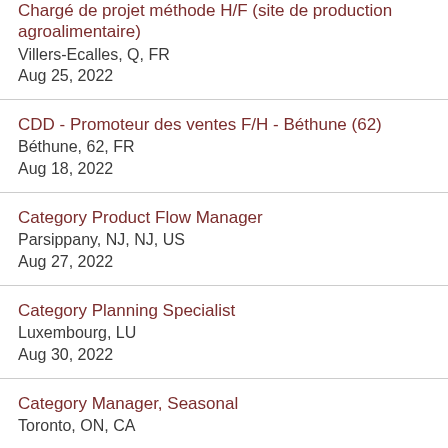Chargé de projet méthode H/F (site de production agroalimentaire)
Villers-Ecalles, Q, FR
Aug 25, 2022
CDD - Promoteur des ventes F/H - Béthune (62)
Béthune, 62, FR
Aug 18, 2022
Category Product Flow Manager
Parsippany, NJ, NJ, US
Aug 27, 2022
Category Planning Specialist
Luxembourg, LU
Aug 30, 2022
Category Manager, Seasonal
Toronto, ON, CA